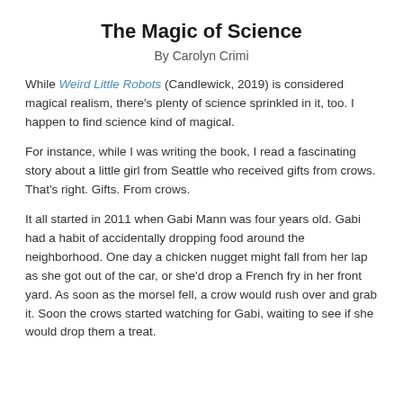The Magic of Science
By Carolyn Crimi
While Weird Little Robots (Candlewick, 2019) is considered magical realism, there's plenty of science sprinkled in it, too. I happen to find science kind of magical.
For instance, while I was writing the book, I read a fascinating story about a little girl from Seattle who received gifts from crows. That's right. Gifts. From crows.
It all started in 2011 when Gabi Mann was four years old. Gabi had a habit of accidentally dropping food around the neighborhood. One day a chicken nugget might fall from her lap as she got out of the car, or she'd drop a French fry in her front yard. As soon as the morsel fell, a crow would rush over and grab it. Soon the crows started watching for Gabi, waiting to see if she would drop them a treat.